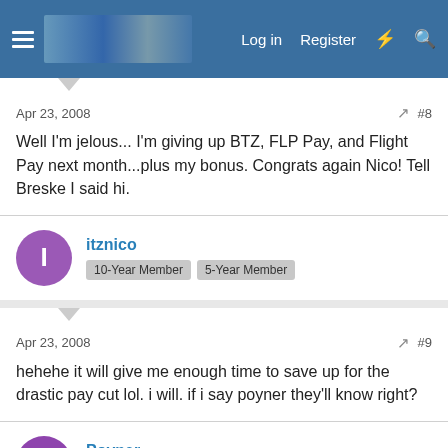Log in  Register
Apr 23, 2008  #8
Well I'm jelous... I'm giving up BTZ, FLP Pay, and Flight Pay next month...plus my bonus. Congrats again Nico! Tell Breske I said hi.
itznico
10-Year Member  5-Year Member
Apr 23, 2008  #9
hehehe it will give me enough time to save up for the drastic pay cut lol. i will. if i say poyner they'll know right?
Poyner
10-Year Member  5-Year Member